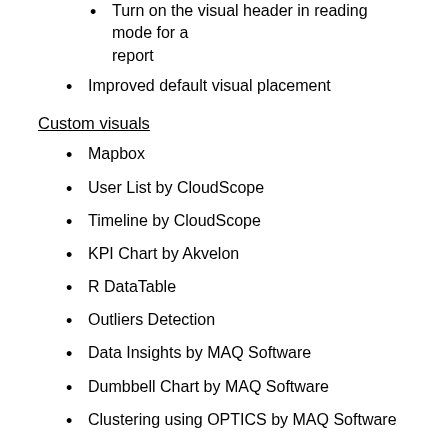Turn on the visual header in reading mode for a report
Improved default visual placement
Custom visuals
Mapbox
User List by CloudScope
Timeline by CloudScope
KPI Chart by Akvelon
R DataTable
Outliers Detection
Data Insights by MAQ Software
Dumbbell Chart by MAQ Software
Clustering using OPTICS by MAQ Software
Data connectivity